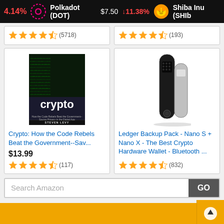4.14% | Polkadot (DOT) $7.50 ↓11.38% | Shiba Inu (SHIB)
[Figure (screenshot): Partial product card top row showing star ratings (5718) and (193)]
[Figure (photo): Book cover: Crypto by Steven Levy]
Crypto: How the Code Rebels Beat the Government--Sav...
$13.99
(117)
[Figure (photo): Ledger Backup Pack hardware wallets - Nano S and Nano X devices]
Ledger Backup Pack - Nano S + Nano X - The Best Crypto Hardware Wallet - Bluetooth ...
(832)
Search Amazon
GO
Ads by Amazon